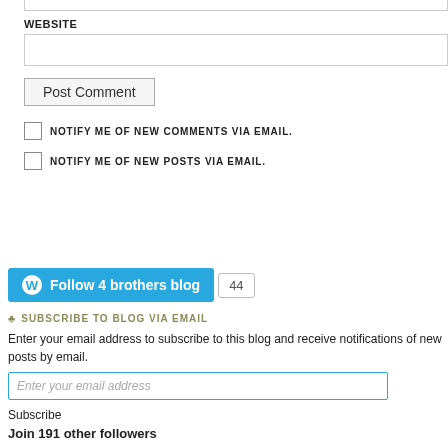WEBSITE
Post Comment
NOTIFY ME OF NEW COMMENTS VIA EMAIL.
NOTIFY ME OF NEW POSTS VIA EMAIL.
[Figure (other): Follow 4 brothers blog button with WordPress logo and follower count badge showing 44]
SUBSCRIBE TO BLOG VIA EMAIL
Enter your email address to subscribe to this blog and receive notifications of new posts by email.
Enter your email address
Subscribe
Join 191 other followers